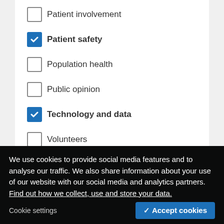Patient involvement (unchecked)
Patient safety (checked)
Population health (unchecked)
Public opinion (unchecked)
Technology and data (checked)
Volunteers (unchecked)
Policy, finance and performance
Access to care (checked)
Brexit (unchecked)
Commissioning and contracting (unchecked)
Devolution (unchecked)
Governance and regulation (unchecked, faded)
NHS priorities (faded)
NHS five year forward view (faded)
NHS long-term plan (unchecked, faded)
We use cookies to provide social media features and to analyse our traffic. We also share information about your use of our website with our social media and analytics partners. Find out how we collect, use and store your data.